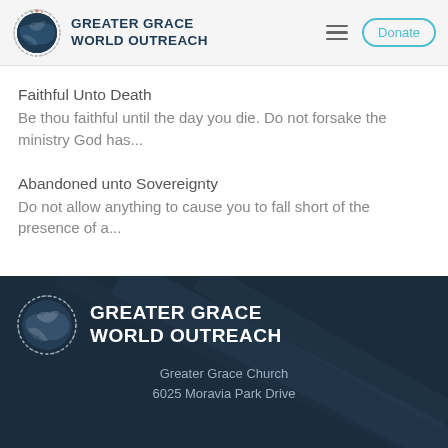[Figure (logo): Greater Grace World Outreach logo with globe icon in header]
Faithful Unto Death
Be thou faithful until the day you die. Do not forsake the ministry God has...
Abandoned unto Sovereignty
Do not allow anything to cause you to fall short of the presence of a...
[Figure (logo): Greater Grace World Outreach footer logo with globe icon on dark background]
Greater Grace Church
6025 Moravia Park Drive